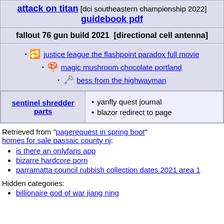| attack on titan [dci southeastern championship 2022] guidebook pdf |
| fallout 76 gun build 2021  [directional cell antenna] |
| • justice league the flashpoint paradox full movie
• magic mushroom chocolate portland
• bess from the highwayman |
| sentinel shredder parts | yanfly quest journal
blazor redirect to page |
Retrieved from "pagerequest in spring boot"
homes for sale passaic county nj:
is there an onlyfans app
bizarre hardcore porn
parramatta council rubbish collection dates 2021 area 1
Hidden categories:
billionaire god of war jiang ning